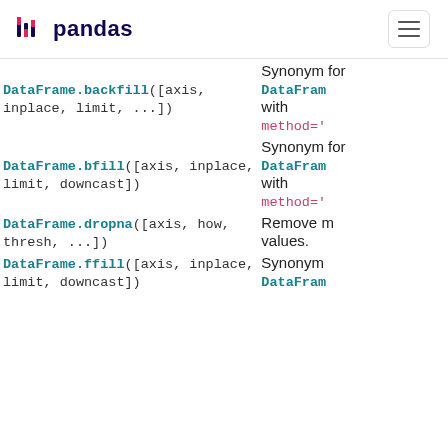pandas
| Method | Description |
| --- | --- |
| DataFrame.backfill([axis, inplace, limit, ...]) | Synonym for DataFrame.fillna() with method='backfill'. |
| DataFrame.bfill([axis, inplace, limit, downcast]) | Synonym for DataFrame.fillna() with method='bfill'. |
| DataFrame.dropna([axis, how, thresh, ...]) | Remove missing values. |
| DataFrame.ffill([axis, inplace, limit, downcast]) | Synonym for DataFrame.fillna() |